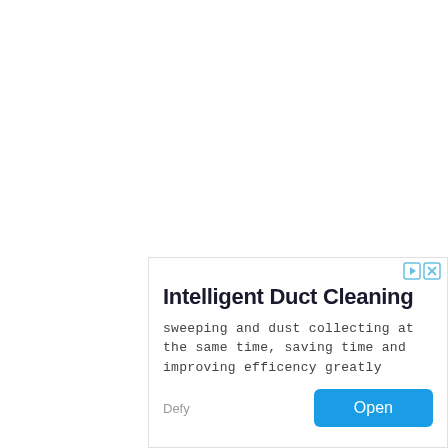[Figure (screenshot): Advertisement banner for 'Intelligent Duct Cleaning' by Defy, with a title, body text describing sweeping and dust collecting, a brand name, and an Open button. Includes ad control icons (play/skip and close) in the top right corner.]